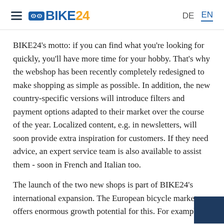≡ BIKE24 | DE EN
BIKE24's motto: if you can find what you're looking for quickly, you'll have more time for your hobby. That's why the webshop has been recently completely redesigned to make shopping as simple as possible. In addition, the new country-specific versions will introduce filters and payment options adapted to their market over the course of the year. Localized content, e.g. in newsletters, will soon provide extra inspiration for customers. If they need advice, an expert service team is also available to assist them - soon in French and Italian too.
The launch of the two new shops is part of BIKE24's international expansion. The European bicycle market offers enormous growth potential for this. For example,